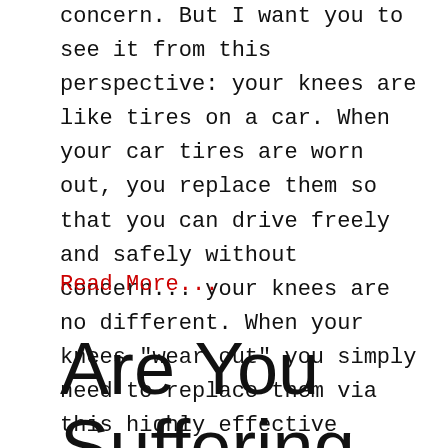concern. But I want you to see it from this perspective: your knees are like tires on a car. When your car tires are worn out, you replace them so that you can drive freely and safely without concern... your knees are no different. When your knees "wear out" you simply need to replace them via this highly effective procedure, alleviating your pain and hence much improving your lifestyle.
Read More...
Are You Suffering from